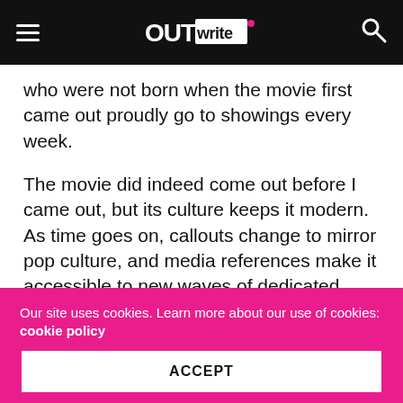OUTwrite
who were not born when the movie first came out proudly go to showings every week.
The movie did indeed come out before I came out, but its culture keeps it modern. As time goes on, callouts change to mirror pop culture, and media references make it accessible to new waves of dedicated audiences. This odd, queer culture is alive and well and doesn't seem to be going anywhere.
If you are in the Westwood area and would like to
Our site uses cookies. Learn more about our use of cookies: cookie policy
ACCEPT